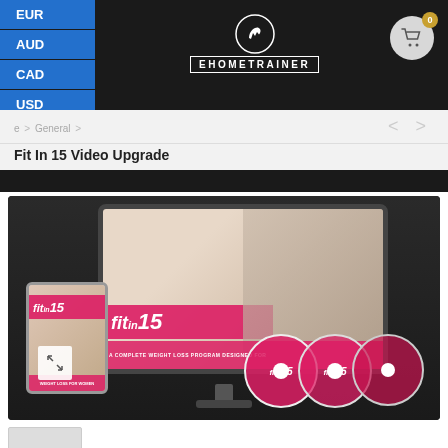EHOMETRAINER — EUR AUD CAD USD currency selector, cart icon
Home > General >
Fit In 15 Video Upgrade
[Figure (photo): Product mockup image showing 'fit in 15' branding on iMac screen, tablet, and DVDs — a complete weight loss program designed for women]